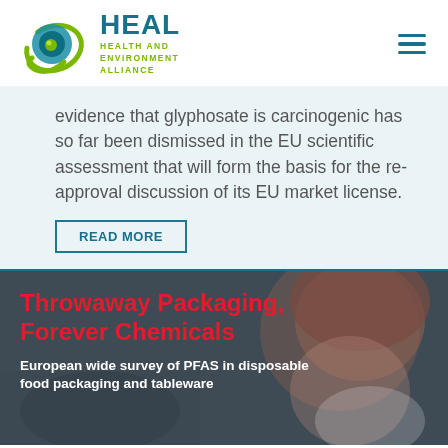[Figure (logo): HEAL – Health and Environment Alliance logo with teal/green circular swirl graphic and hamburger menu icon]
evidence that glyphosate is carcinogenic has so far been dismissed in the EU scientific assessment that will form the basis for the re-approval discussion of its EU market license.
READ MORE
[Figure (photo): Child wearing a red/brown beanie hat wiping their nose with a tissue, overlaid with red headline text 'Throwaway Packaging, Forever Chemicals' and white subtitle 'European wide survey of PFAS in disposable food packaging and tableware']
Throwaway Packaging, Forever Chemicals
European wide survey of PFAS in disposable food packaging and tableware